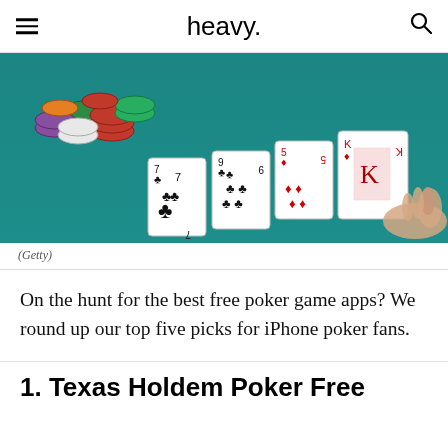heavy.
[Figure (photo): Poker table with playing cards (clubs and diamonds) laid out on green felt, with poker chips in the background and a hand reaching in from the right]
(Getty)
On the hunt for the best free poker game apps? We round up our top five picks for iPhone poker fans.
1. Texas Holdem Poker Free